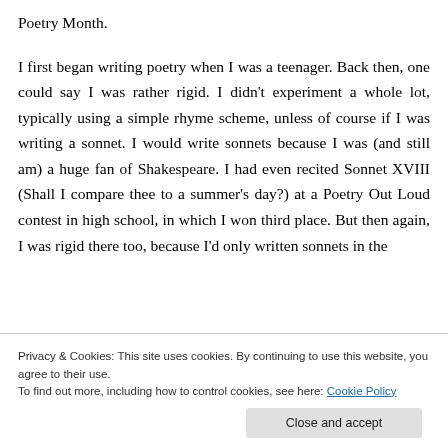Poetry Month.

I first began writing poetry when I was a teenager. Back then, one could say I was rather rigid. I didn't experiment a whole lot, typically using a simple rhyme scheme, unless of course if I was writing a sonnet. I would write sonnets because I was (and still am) a huge fan of Shakespeare. I had even recited Sonnet XVIII (Shall I compare thee to a summer's day?) at a Poetry Out Loud contest in high school, in which I won third place. But then again, I was rigid there too, because I'd only written sonnets in the
Privacy & Cookies: This site uses cookies. By continuing to use this website, you agree to their use.
To find out more, including how to control cookies, see here: Cookie Policy